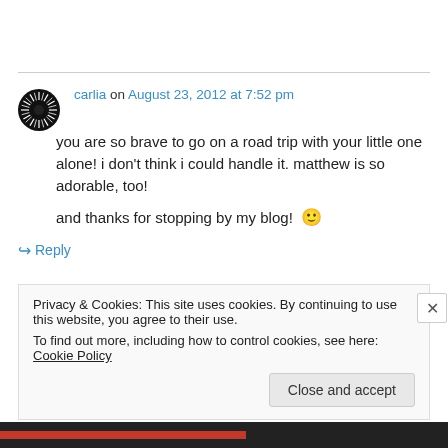carlia on August 23, 2012 at 7:52 pm
you are so brave to go on a road trip with your little one alone! i don't think i could handle it. matthew is so adorable, too!

and thanks for stopping by my blog! 🙂
↳ Reply
Privacy & Cookies: This site uses cookies. By continuing to use this website, you agree to their use.
To find out more, including how to control cookies, see here: Cookie Policy

Close and accept